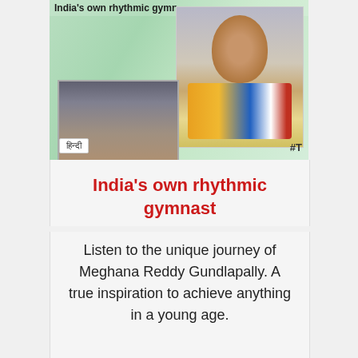[Figure (photo): Collage image showing Meghana Reddy Gundlapally, India's rhythmic gymnast. Right side shows a portrait photo of a young girl holding medals and draped in a colorful flag/sash. Left side shows a smaller photo of a girl practicing. Hindi label in bottom left corner, hashtag #T visible at bottom right. Partial title text visible at top reading India's own rhythmic gymn...]
India's own rhythmic gymnast
Listen to the unique journey of Meghana Reddy Gundlapally. A true inspiration to achieve anything in a young age.